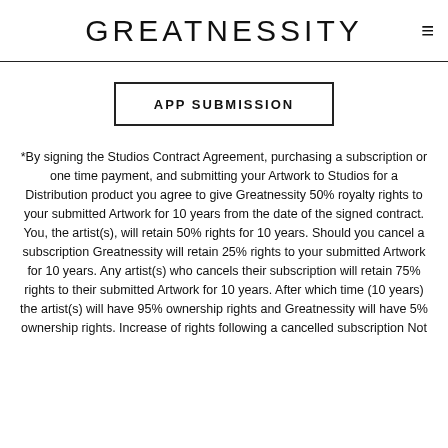GREATNESSITY
APP SUBMISSION
*By signing the Studios Contract Agreement, purchasing a subscription or one time payment, and submitting your Artwork to Studios for a Distribution product you agree to give Greatnessity 50% royalty rights to your submitted Artwork for 10 years from the date of the signed contract. You, the artist(s), will retain 50% rights for 10 years. Should you cancel a subscription Greatnessity will retain 25% rights to your submitted Artwork for 10 years. Any artist(s) who cancels their subscription will retain 75% rights to their submitted Artwork for 10 years. After which time (10 years) the artist(s) will have 95% ownership rights and Greatnessity will have 5% ownership rights. Increase of rights following a cancelled subscription Not